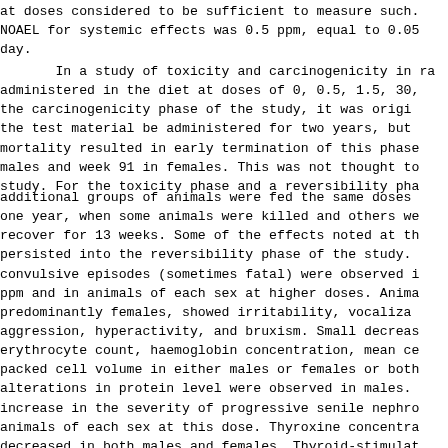at doses considered to be sufficient to measure such. NOAEL for systemic effects was 0.5 ppm, equal to 0.05 day.
In a study of toxicity and carcinogenicity in ra administered in the diet at doses of 0, 0.5, 1.5, 30, the carcinogenicity phase of the study, it was origi the test material be administered for two years, but mortality resulted in early termination of this phase males and week 91 in females. This was not thought to study. For the toxicity phase and a reversibility pha
additional groups of animals were fed the same doses one year, when some animals were killed and others we recover for 13 weeks. Some of the effects noted at th persisted into the reversibility phase of the study. convulsive episodes (sometimes fatal) were observed i ppm and in animals of each sex at higher doses. Anima predominantly females, showed irritability, vocaliza aggression, hyperactivity, and bruxism. Small decreas erythrocyte count, haemoglobin concentration, mean ce packed cell volume in either males or females or both alterations in protein level were observed in males. increase in the severity of progressive senile nephro animals of each sex at this dose. Thyroxine concentra decreased in both males and females. Thyroid-stimulat levels were increased, notably in males, at doses of and in females at 300 ppm. The levels of triiodothyro elevated in females at 30 ppm, but only during the re phase. At 300 ppm, fipronil induced follicular-cell a